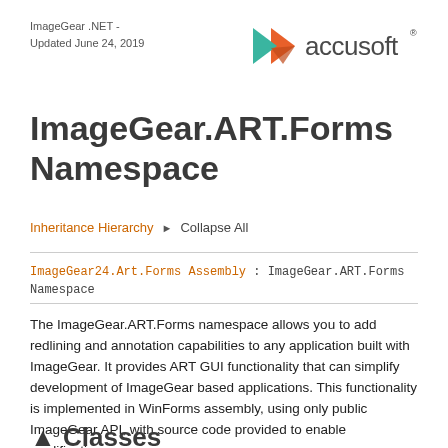ImageGear .NET -
Updated June 24, 2019
[Figure (logo): Accusoft logo with orange/teal arrow graphic and 'accusoft' wordmark]
ImageGear.ART.Forms Namespace
Inheritance Hierarchy  ▶ Collapse All
ImageGear24.Art.Forms Assembly : ImageGear.ART.Forms Namespace
The ImageGear.ART.Forms namespace allows you to add redlining and annotation capabilities to any application built with ImageGear. It provides ART GUI functionality that can simplify development of ImageGear based applications. This functionality is implemented in WinForms assembly, using only public ImageGear API, with source code provided to enable modifications.
▲ Classes